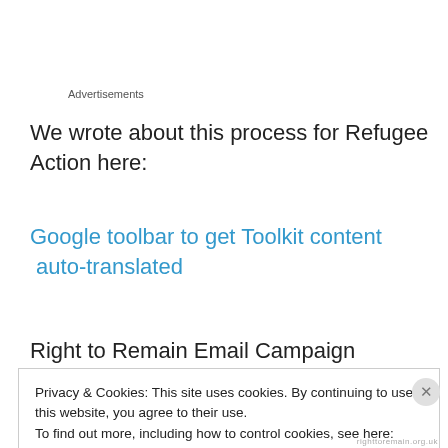Advertisements
We wrote about this process for Refugee Action here:
Google toolbar to get Toolkit content  auto-translated
Right to Remain Email Campaign
Privacy & Cookies: This site uses cookies. By continuing to use this website, you agree to their use.
To find out more, including how to control cookies, see here: Cookie Policy
Close and accept
righttoremain.org.uk